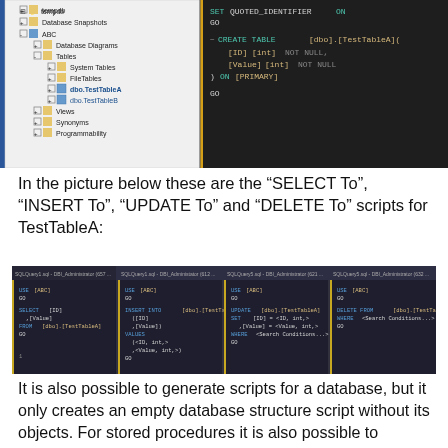[Figure (screenshot): SQL Server Management Studio screenshot showing object explorer tree with tempdb, Database Snapshots, ABC database with tables dbo.TestTableA and dbo.TestTableB, and a query editor pane showing CREATE TABLE script for TestTableA with ID and Value int columns.]
In the picture below these are the “SELECT To”, “INSERT To”, “UPDATE To” and “DELETE To” scripts for TestTableA:
[Figure (screenshot): Four SQL query editor panes side by side showing SELECT, INSERT, UPDATE, and DELETE scripts for dbo.TestTableA generated by SSMS script generation feature.]
It is also possible to generate scripts for a database, but it only creates an empty database structure script without its objects. For stored procedures it is also possible to generate an “EXECUTE To” script, which will be very useful for executing stored procedures in SSMS, especially when there are a lot of parameters and you do not want